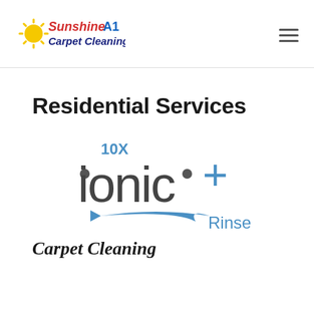[Figure (logo): Sunshine A1 Carpet Cleaning logo with sun graphic]
Residential Services
[Figure (logo): 10X ionic+ Rinse product logo in grey and blue]
Carpet Cleaning